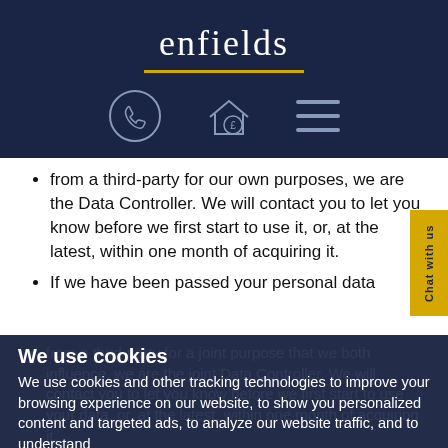[Figure (logo): Enfields logo with text 'enfields', yellow underline, and three icon buttons: phone, house with pound sign, and hamburger menu. White on dark navy background.]
from a third-party for our own purposes, we are the Data Controller. We will contact you to let you know before we first start to use it, or, at the latest, within one month of acquiring it.
If we have been passed your personal data from a third-party for a joint purpose that we both influence, we are the joint Data Controller. We will contact you to let you know before we first start to use your data, or, at the latest, within one month of acquiring it.
If your data has been passed to us by a third party for processing under their instruction, that third party is the Data Controller. They
We use cookies
We use cookies and other tracking technologies to improve your browsing experience on our website, to show you personalized content and targeted ads, to analyze our website traffic, and to understand